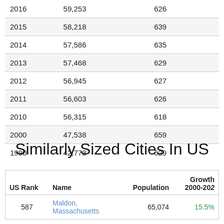| Year | Population | Density (mi²) |
| --- | --- | --- |
| 2016 | 59,253 | 626 |
| 2015 | 58,218 | 639 |
| 2014 | 57,586 | 635 |
| 2013 | 57,468 | 629 |
| 2012 | 56,945 | 627 |
| 2011 | 56,603 | 626 |
| 2010 | 56,315 | 618 |
| 2000 | 47,538 | 659 |
| 1990 | 42,773 | 629 |
Similarly Sized Cities In US
| US Rank | Name | Population | Growth 2000-20?? |
| --- | --- | --- | --- |
| 587 | Maldon, Massachusetts | 65,074 | 15.5% |